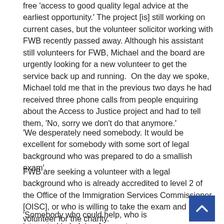free 'access to good quality legal advice at the earliest opportunity.' The project [is] still working on current cases, but the volunteer solicitor working with FWB recently passed away. Although his assistant still volunteers for FWB, Michael and the board are urgently looking for a new volunteer to get the service back up and running.  On the day we spoke, Michael told me that in the previous two days he had received three phone calls from people enquiring about the Access to Justice project and had to tell them, 'No, sorry we don't do that anymore.'
'We desperately need somebody. It would be excellent for somebody with some sort of legal background who was prepared to do a smallish exam'.
FWB are seeking a volunteer with a legal background who is already accredited to level 2 of the Office of the Immigration Services Commissioner [OISC], or who is willing to take the exam and volunteer for the charity.
'Somebody who could help, who is interested in helping Access to Justice would be a huge bonus for us.' Michael said.